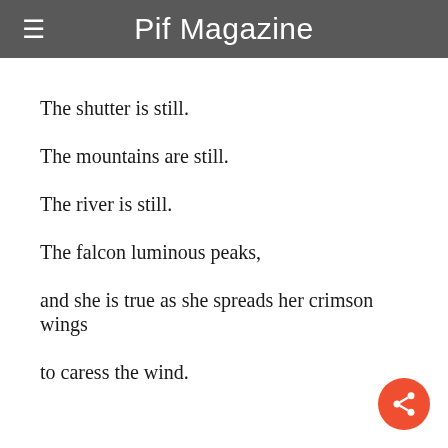Pif Magazine
The shutter is still.
The mountains are still.
The river is still.
The falcon luminous peaks,
and she is true as she spreads her crimson wings
to caress the wind.